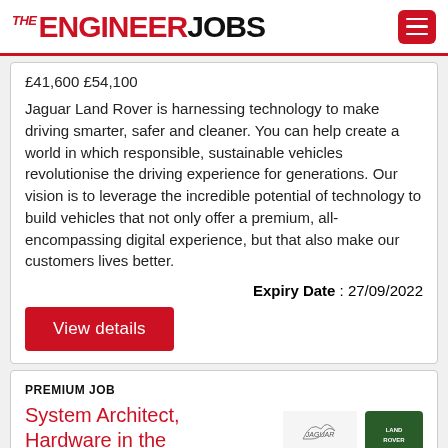THE ENGINEER JOBS
£41,600 £54,100
Jaguar Land Rover is harnessing technology to make driving smarter, safer and cleaner. You can help create a world in which responsible, sustainable vehicles revolutionise the driving experience for generations. Our vision is to leverage the incredible potential of technology to build vehicles that not only offer a premium, all-encompassing digital experience, but that also make our customers lives better.
Expiry Date : 27/09/2022
View details
PREMIUM JOB
System Architect, Hardware in the